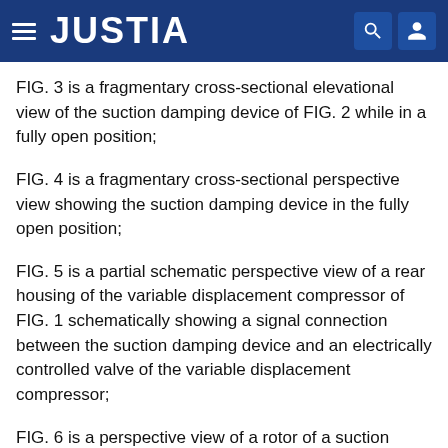JUSTIA
FIG. 3 is a fragmentary cross-sectional elevational view of the suction damping device of FIG. 2 while in a fully open position;
FIG. 4 is a fragmentary cross-sectional perspective view showing the suction damping device in the fully open position;
FIG. 5 is a partial schematic perspective view of a rear housing of the variable displacement compressor of FIG. 1 schematically showing a signal connection between the suction damping device and an electrically controlled valve of the variable displacement compressor;
FIG. 6 is a perspective view of a rotor of a suction damping device according to another embodiment of the invention;